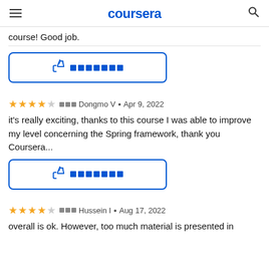coursera
course! Good job.
[Figure (other): Helpful button with thumbs up icon and redacted squares]
★★★★☆  ▪▪▪ Dongmo V • Apr 9, 2022
it's really exciting, thanks to this course I was able to improve my level concerning the Spring framework, thank you Coursera...
[Figure (other): Helpful button with thumbs up icon and redacted squares]
★★★★☆  ▪▪▪ Hussein I • Aug 17, 2022
overall is ok. However, too much material is presented in